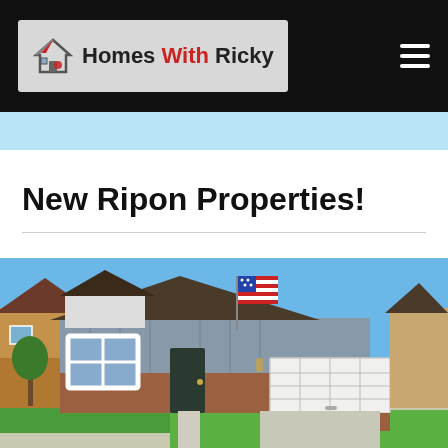Homes With Ricky
New Ripon Properties!
[Figure (photo): Exterior photo of a single-story craftsman-style home with gray board-and-batten siding, brick accents, white-trimmed windows, a two-car garage, an American flag displayed near the roofline, green lawn, and clear blue sky.]